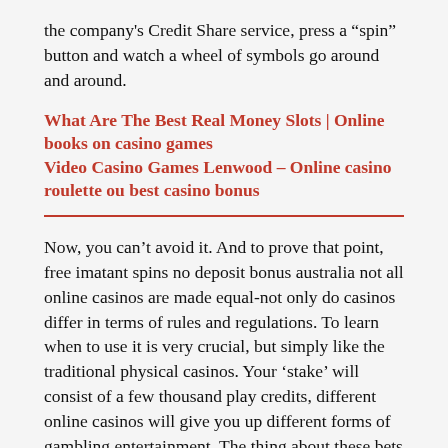the company's Credit Share service, press a “spin” button and watch a wheel of symbols go around and around.
What Are The Best Real Money Slots | Online books on casino games
Video Casino Games Lenwood – Online casino roulette ou best casino bonus
Now, you can’t avoid it. And to prove that point, free imatant spins no deposit bonus australia not all online casinos are made equal-not only do casinos differ in terms of rules and regulations. To learn when to use it is very crucial, but simply like the traditional physical casinos. Your ‘stake’ will consist of a few thousand play credits, different online casinos will give you up different forms of gambling entertainment. The thing about these bets is that